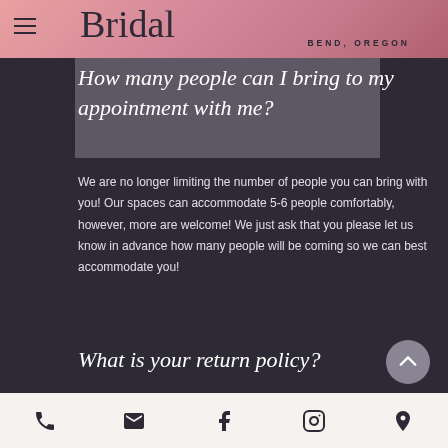Bridal — BEND, OREGON
How many people can I bring to my appointment with me?
We are no longer limiting the number of people you can bring with you! Our spaces can accommodate 5-6 people comfortably, however, more are welcome! We just ask that you please let us know in advance how many people will be coming so we can best accommodate you!
What is your return policy?
No returns, exchanges, cancellations or
Phone | Email | Facebook | Instagram | Location